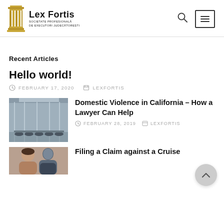Lex Fortis — Societate Profesională de Executori Judecătorești
Recent Articles
Hello world!
FEBRUARY 17, 2020   LEXFORTIS
[Figure (photo): Office interior with glass walls and conference chairs]
Domestic Violence in California – How a Lawyer Can Help
FEBRUARY 28, 2019   LEXFORTIS
[Figure (photo): Two people, woman and man, in conversation]
Filing a Claim against a Cruise